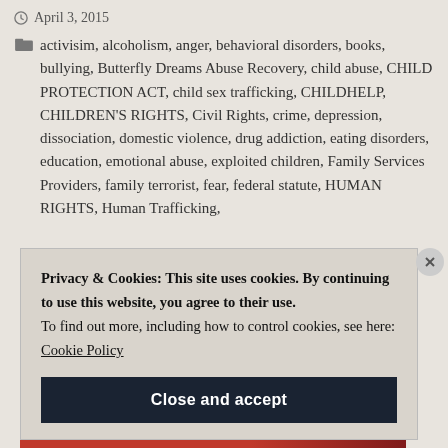April 3, 2015
activisim, alcoholism, anger, behavioral disorders, books, bullying, Butterfly Dreams Abuse Recovery, child abuse, CHILD PROTECTION ACT, child sex trafficking, CHILDHELP, CHILDREN'S RIGHTS, Civil Rights, crime, depression, dissociation, domestic violence, drug addiction, eating disorders, education, emotional abuse, exploited children, Family Services Providers, family terrorist, fear, federal statute, HUMAN RIGHTS, Human Trafficking,
Privacy & Cookies: This site uses cookies. By continuing to use this website, you agree to their use. To find out more, including how to control cookies, see here: Cookie Policy
Close and accept